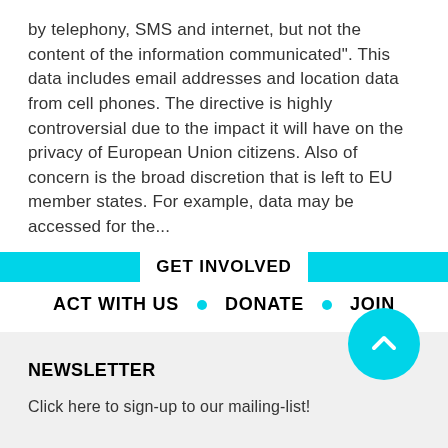by telephony, SMS and internet, but not the content of the information communicated". This data includes email addresses and location data from cell phones. The directive is highly controversial due to the impact it will have on the privacy of European Union citizens. Also of concern is the broad discretion that is left to EU member states. For example, data may be accessed for the...
GET INVOLVED
ACT WITH US • DONATE • JOIN
NEWSLETTER
Click here to sign-up to our mailing-list!